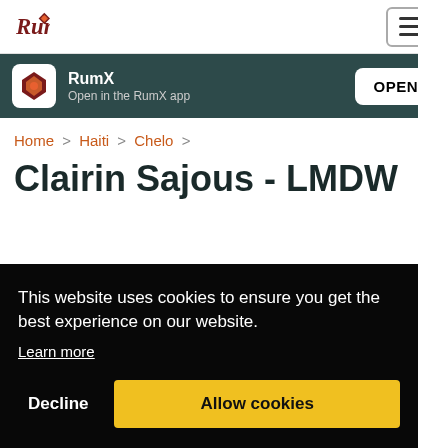RumX logo and navigation
RumX — Open in the RumX app — OPEN
Home > Haiti > Chelo >
Clairin Sajous - LMDW
This website uses cookies to ensure you get the best experience on our website. Learn more
Decline   Allow cookies